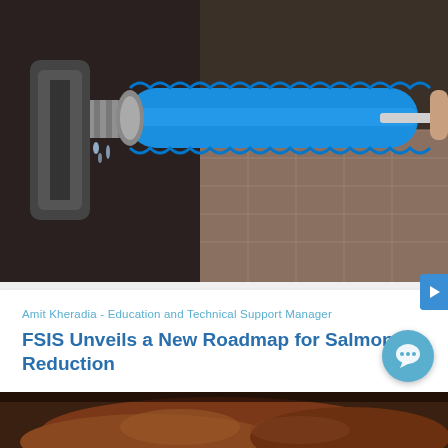[Figure (photo): Close-up photo of a blue cylindrical brush cleaning a metal nozzle or pipe fitting, with water dripping from the fitting. Industrial food safety cleaning equipment.]
Amit Kheradia - Education and Technical Support Manager
FSIS Unveils a New Roadmap for Salmonella Reduction
Remco is proud to have participated in the USDA-FSIS virtual public meeting on Salmonella. The forum discussed the agency's Salmonella reduction efforts through science-based, data-driven, and innovative strategies that ensure the safety of meat, poultry, egg products, catfish...
[Figure (photo): Partial view of a dark brown/reddish food product (meat or similar) on a dark surface, visible at the bottom of the page.]